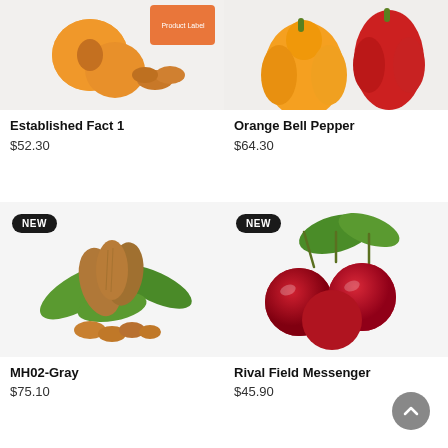[Figure (photo): Apricots and dried apricots product photo, partially cropped at top]
Established Fact 1
$52.30
[Figure (photo): Orange bell pepper and red bell pepper product photo, partially cropped at top]
Orange Bell Pepper
$64.30
[Figure (photo): Almonds and dried fruits with green leaves, NEW badge overlay]
MH02-Gray
$75.10
[Figure (photo): Three red cherries with green leaves on white background, NEW badge overlay]
Rival Field Messenger
$45.90